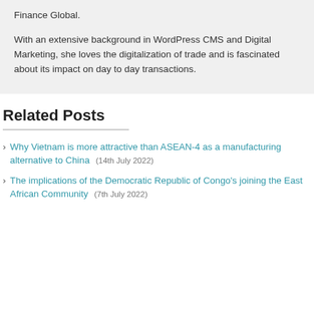Finance Global.
With an extensive background in WordPress CMS and Digital Marketing, she loves the digitalization of trade and is fascinated about its impact on day to day transactions.
Related Posts
Why Vietnam is more attractive than ASEAN-4 as a manufacturing alternative to China (14th July 2022)
The implications of the Democratic Republic of Congo's joining the East African Community (7th July 2022)